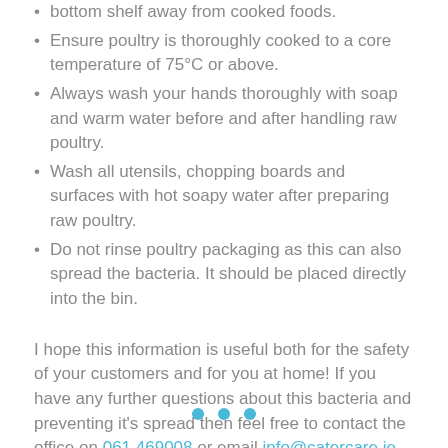bottom shelf away from cooked foods.
Ensure poultry is thoroughly cooked to a core temperature of 75°C or above.
Always wash your hands thoroughly with soap and warm water before and after handling raw poultry.
Wash all utensils, chopping boards and surfaces with hot soapy water after preparing raw poultry.
Do not rinse poultry packaging as this can also spread the bacteria. It should be placed directly into the bin.
I hope this information is useful both for the safety of your customers and for you at home! If you have any further questions about this bacteria and preventing it's spread then feel free to contact the office on 061 469008 or email info@catercare.ie